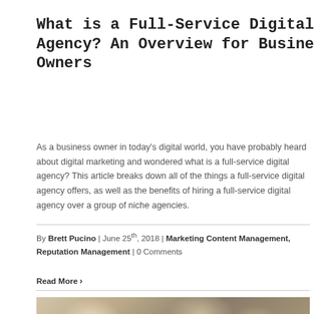What is a Full-Service Digital Agency? An Overview for Business Owners
As a business owner in today's digital world, you have probably heard about digital marketing and wondered what is a full-service digital agency? This article breaks down all of the things a full-service digital agency offers, as well as the benefits of hiring a full-service digital agency over a group of niche agencies.
By Brett Pucino | June 25th, 2018 | Marketing Content Management, Reputation Management | 0 Comments
Read More >
[Figure (photo): Partial photo visible at bottom of page showing what appears to be a desk or table scene]